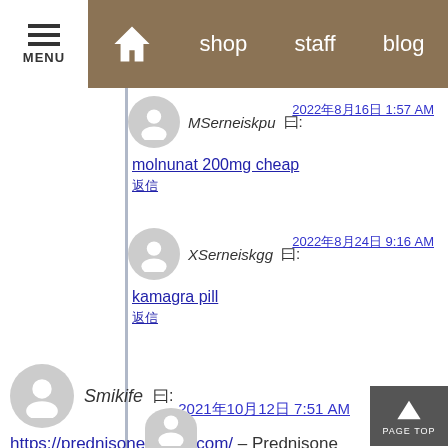MENU  home  shop  staff  blog
MSerneiskpu 曰:
2022年8月16日 1:57 AM
molnunat 200mg cheap
返信
XSerneiskgg 曰:
2022年8月24日 9:16 AM
kamagra pill
返信
Smikife 曰:
2021年10月12日 7:51 AM
https://prednisonebuyon.com/ – Prednisone
返信